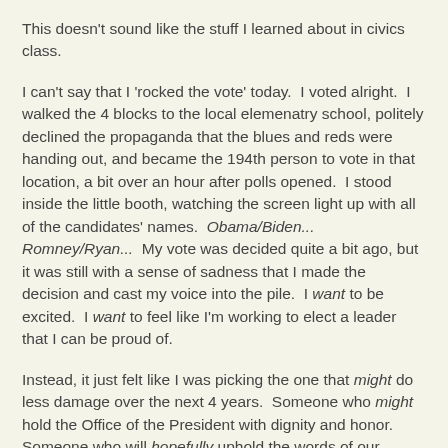This doesn't sound like the stuff I learned about in civics class.
I can't say that I 'rocked the vote' today.  I voted alright.  I walked the 4 blocks to the local elemenatry school, politely declined the propaganda that the blues and reds were handing out, and became the 194th person to vote in that location, a bit over an hour after polls opened.  I stood inside the little booth, watching the screen light up with all of the candidates' names.  Obama/Biden... Romney/Ryan...  My vote was decided quite a bit ago, but it was still with a sense of sadness that I made the decision and cast my voice into the pile.  I want to be excited.  I want to feel like I'm working to elect a leader that I can be proud of.
Instead, it just felt like I was picking the one that might do less damage over the next 4 years.  Someone who might hold the Office of the President with dignity and honor.  Someone who will hopefully uphold the words of our Founding Fathers, and the morals and values we hold dear.